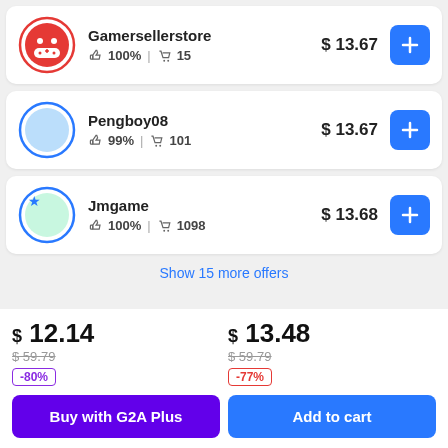Gamersellerstore — 100% | 15 — $13.67
Pengboy08 — 99% | 101 — $13.67
Jmgame — 100% | 1098 — $13.68
Show 15 more offers
$12.14 / $59.79 / -80% / Buy with G2A Plus
$13.48 / $59.79 / -77% / Add to cart